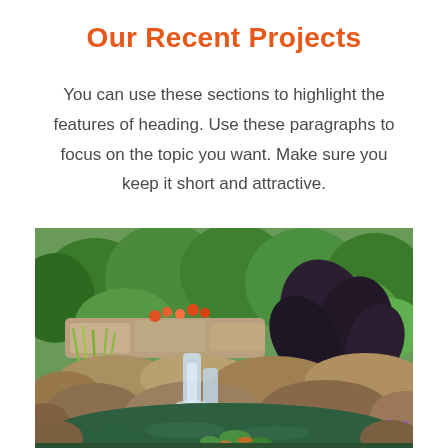Our Recent Projects
You can use these sections to highlight the features of heading. Use these paragraphs to focus on the topic you want. Make sure you keep it short and attractive.
[Figure (photo): A lush garden water feature with a cascading waterfall over natural rocks, a koi pond with lily pads, large dark tropical leaves, colorful flowering plants, and dense green trees in the background.]